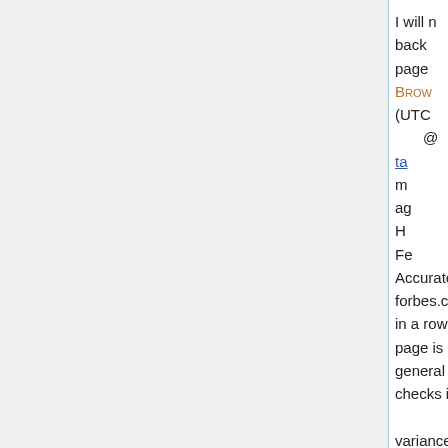I will n back page Brow (UTC @t ta m ag H Fe Accurately determin forbes.com uses bo in a row without suf page is 200. It's a C general purpose dea checks it three times variances. -- Greene